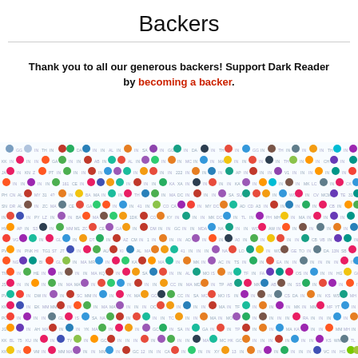Backers
Thank you to all our generous backers! Support Dark Reader by becoming a backer.
[Figure (infographic): A dense grid of circular avatar icons and two-letter abbreviations representing many individual backers/supporters of Dark Reader.]